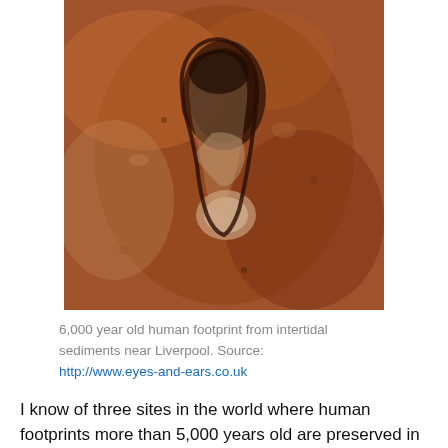[Figure (photo): Close-up photograph of a 6,000 year old human footprint preserved in intertidal sediments near Liverpool. The footprint impression is visible in reddish-brown rocky sediment.]
6,000 year old human footprint from intertidal sediments near Liverpool. Source:
http://www.eyes-and-ears.co.uk
I know of three sites in the world where human footprints more than 5,000 years old are preserved in the intertidal